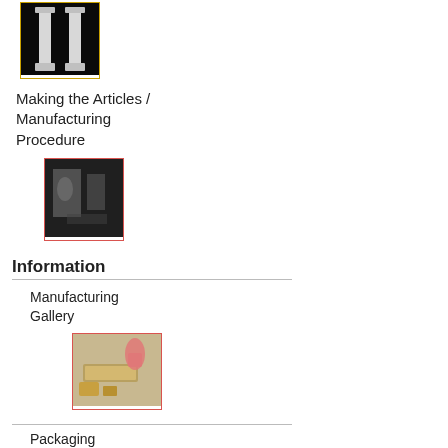[Figure (photo): Photo of two white marble or stone columns/pillars on dark background, shown in a gold-bordered frame]
Making the Articles / Manufacturing Procedure
[Figure (photo): Dark photo showing manufacturing/workshop scene with figures and equipment, shown in red-bordered frame]
Information
Manufacturing Gallery
[Figure (photo): Photo of a person working on a long wooden or stone piece, with tools and materials around, shown in red-bordered frame]
Packaging
[Figure (photo): Photo of a circular decorative tile or medallion with ornate patterns, shown in red-bordered frame]